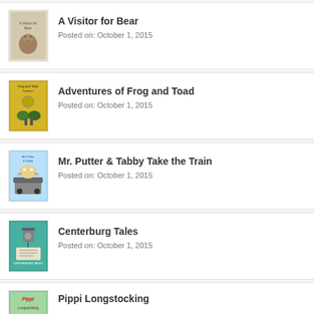A Visitor for Bear
Posted on: October 1, 2015
Adventures of Frog and Toad
Posted on: October 1, 2015
Mr. Putter & Tabby Take the Train
Posted on: October 1, 2015
Centerburg Tales
Posted on: October 1, 2015
Pippi Longstocking